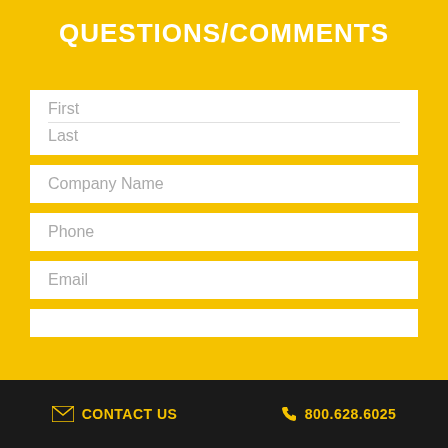QUESTIONS/COMMENTS
[Figure (infographic): Contact form with fields: First, Last, Company Name, Phone, Email, and a partially visible field at the bottom]
CONTACT US   800.628.6025